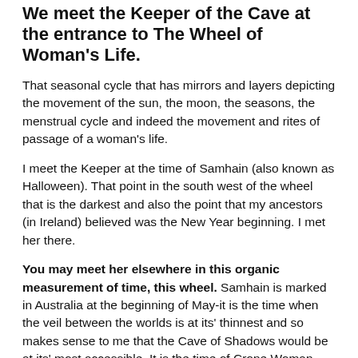We meet the Keeper of the Cave at the entrance to The Wheel of Woman's Life.
That seasonal cycle that has mirrors and layers depicting the movement of the sun, the moon, the seasons, the menstrual cycle and indeed the movement and rites of passage of a woman's life.
I meet the Keeper at the time of Samhain (also known as Halloween). That point in the south west of the wheel that is the darkest and also the point that my ancestors (in Ireland) believed was the New Year beginning. I met her there.
You may meet her elsewhere in this organic measurement of time, this wheel. Samhain is marked in Australia at the beginning of May-it is the time when the veil between the worlds is at its' thinnest and so makes sense to me that the Cave of Shadows would be at its' most accessible. It is the time of Crone Woman- woman at ages of 75 plus (sometimes earlier or later as this wheel is not governed by the numerics of